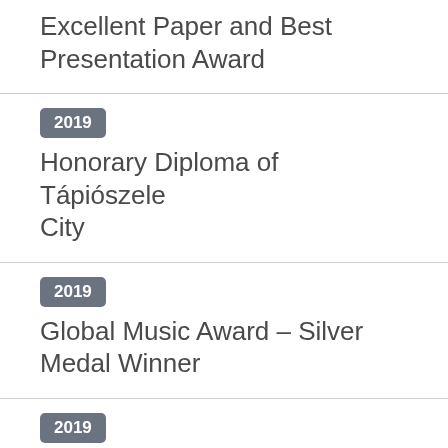Excellent Paper and Best Presentation Award
2019 Honorary Diploma of Tápiószele City
2019 Global Music Award – Silver Medal Winner
2019 UK Songwriting Contest - One of my song "Verbunk for Pest